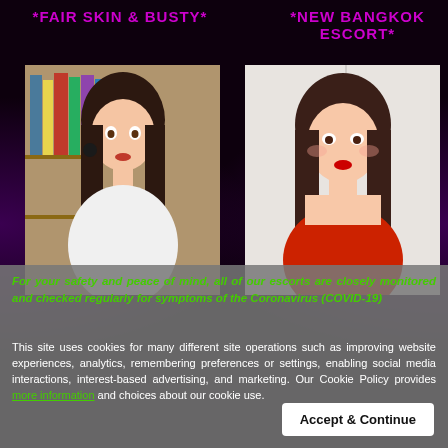*FAIR SKIN & BUSTY*
*NEW BANGKOK ESCORT*
[Figure (photo): Young woman with long dark wavy hair wearing a white top, seated in a room with bookshelves]
[Figure (photo): Young woman with long dark hair wearing a red top, close-up portrait against a light background]
For your safety and peace of mind, all of our escorts are closely monitored and checked regularly for symptoms of the Coronavirus (COVID-19)
This site uses cookies for many different site operations such as improving website experiences, analytics, remembering preferences or settings, enabling social media interactions, interest-based advertising, and marketing. Our Cookie Policy provides more information and choices about our cookie use.
Accept & Continue